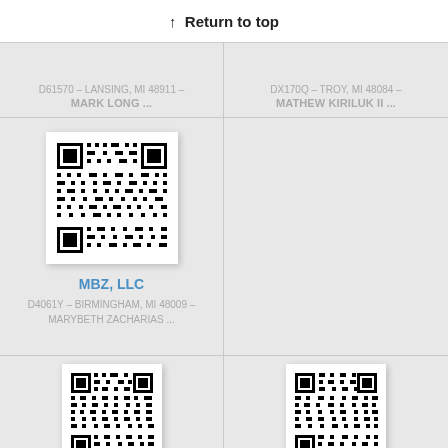↑ Return to top
D61570 – LANSING, MI 48911 – MARK LONG ...
DX170Q – TROY, MI 48084 – MATHEW KIRILUK II ...
[Figure (other): QR code for MBZ, LLC]
MBZ, LLC
D4061Y – BIRMINGHAM, MI 48009 – MARYBETH ZACHARIAS ...
[Figure (other): QR code for MBV PROPERTY]
MBV PROPERTY
[Figure (other): QR code for MB SQUARED L L C]
MB SQUARED L L C